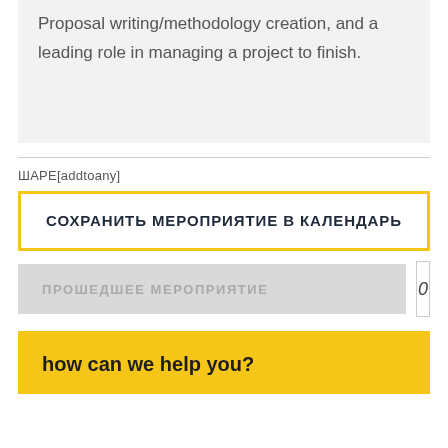Proposal writing/methodology creation, and a leading role in managing a project to finish.
ШАРЕ[addtoany]
СОХРАНИТЬ МЕРОПРИЯТИЕ В КАЛЕНДАРЬ
ПРОШЕДШЕЕ МЕРОПРИЯТИЕ
0
how can we help you?